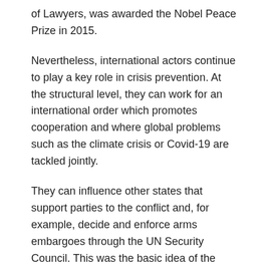of Lawyers, was awarded the Nobel Peace Prize in 2015.
Nevertheless, international actors continue to play a key role in crisis prevention. At the structural level, they can work for an international order which promotes cooperation and where global problems such as the climate crisis or Covid-19 are tackled jointly.
They can influence other states that support parties to the conflict and, for example, decide and enforce arms embargoes through the UN Security Council. This was the basic idea of the Berlin Process on Libya. However, Europeans found it difficult to impartially sanction violations of the arms embargo.